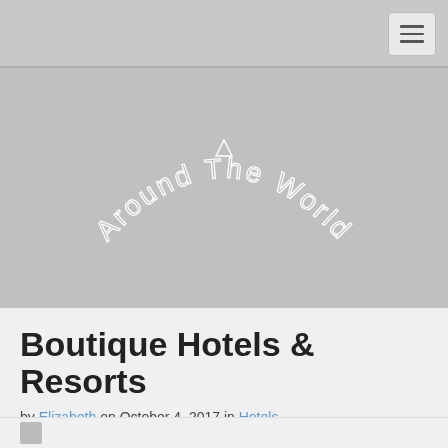[Figure (logo): Around The World text arranged in an arc/curve, rendered in white outline lettering on a gray background, resembling a travel blog logo with stylized typography]
Boutique Hotels & Resorts
by Elizabeth on October 4, 2017 in Hotels